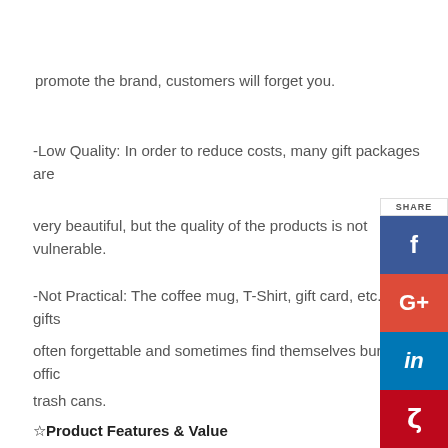promote the brand, customers will forget you.
-Low Quality: In order to reduce costs, many gift packages are very beautiful, but the quality of the products is not vulnerable.
-Not Practical: The coffee mug, T-Shirt, gift card, etc. these gifts often forgettable and sometimes find themselves buried in office trash cans.
[Figure (infographic): Social share sidebar with Facebook (blue), Google+ (red), LinkedIn (blue), Pinterest (red) buttons and SHARE label]
☆Product Features & Value